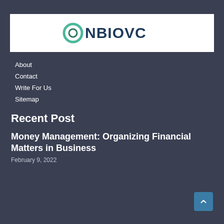[Figure (logo): NBIOVC logo with green circular icon and dark blue text on white background]
About
Contact
Write For Us
Sitemap
Recent Post
Money Management: Organizing Financial Matters in Business
February 9, 2022